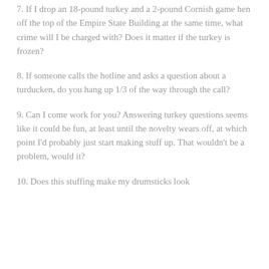7. If I drop an 18-pound turkey and a 2-pound Cornish game hen off the top of the Empire State Building at the same time, what crime will I be charged with? Does it matter if the turkey is frozen?
8. If someone calls the hotline and asks a question about a turducken, do you hang up 1/3 of the way through the call?
9. Can I come work for you? Answering turkey questions seems like it could be fun, at least until the novelty wears off, at which point I'd probably just start making stuff up. That wouldn't be a problem, would it?
10. Does this stuffing make my drumsticks look